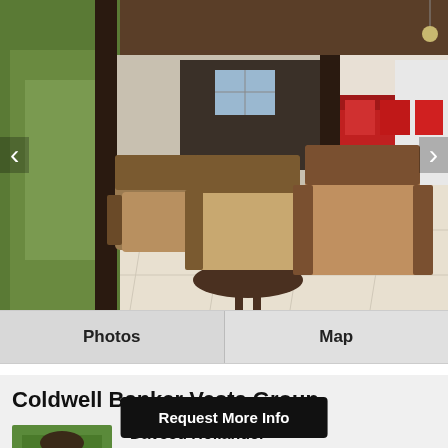[Figure (photo): Interior of a tropical home with rattan/wicker chairs and a round table on a tiled open-air living area with lush greenery visible through large open walls]
Photos
Map
Coldwell Banker Vesta Group
[Figure (photo): Headshot photo of Daveed Hollander, male real estate agent, outdoors with green foliage background]
Daveed Hollander
877-309-9238 (Office)
Request More Info